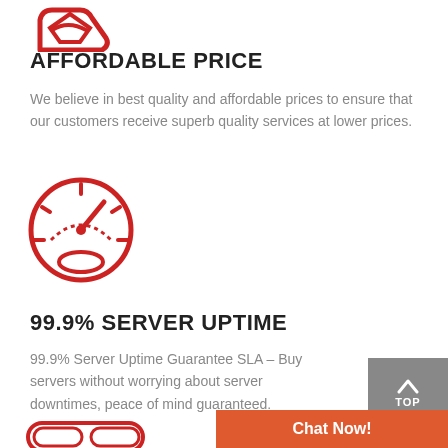[Figure (illustration): Red icon of a hand holding a tag/price label, partially visible at top]
AFFORDABLE PRICE
We believe in best quality and affordable prices to ensure that our customers receive superb quality services at lower prices.
[Figure (illustration): Red speedometer/gauge icon indicating server uptime speed]
99.9% SERVER UPTIME
99.9% Server Uptime Guarantee SLA – Buy servers without worrying about server downtimes, peace of mind guaranteed.
[Figure (illustration): Red toggle switch icon partially visible at bottom left]
[Figure (other): Grey 'TOP' button with upward arrow at right side]
[Figure (other): Orange 'Chat Now!' button at bottom right]